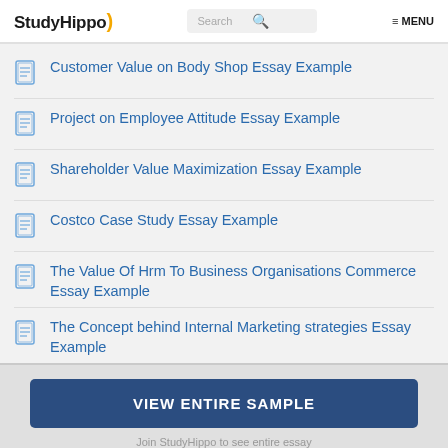StudyHippo | Search | MENU
Customer Value on Body Shop Essay Example
Project on Employee Attitude Essay Example
Shareholder Value Maximization Essay Example
Costco Case Study Essay Example
The Value Of Hrm To Business Organisations Commerce Essay Example
The Concept behind Internal Marketing strategies Essay Example
VIEW ENTIRE SAMPLE
Join StudyHippo to see entire essay